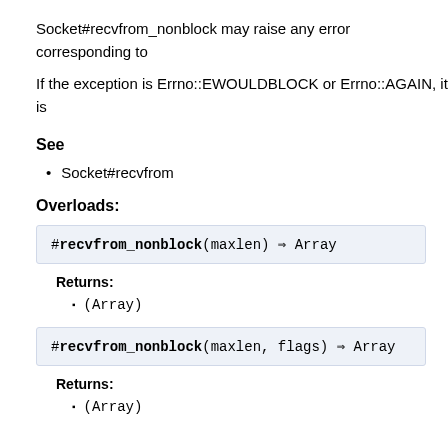Socket#recvfrom_nonblock may raise any error corresponding to
If the exception is Errno::EWOULDBLOCK or Errno::AGAIN, it is
See
Socket#recvfrom
Overloads:
#recvfrom_nonblock(maxlen) ⇒ Array
Returns:
(Array)
#recvfrom_nonblock(maxlen, flags) ⇒ Array
Returns:
(Array)